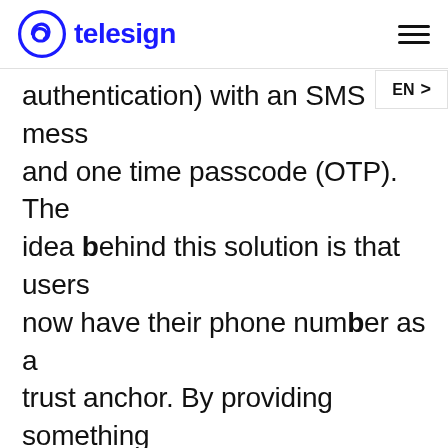[Figure (logo): Telesign logo with circular swirl icon in blue and the text 'telesign' in bold blue]
EN >
authentication) with an SMS mess and one time passcode (OTP). The idea behind this solution is that users now have their phone number as a trust anchor. By providing something you know(password) and something you have (mobile device) an extra layer of security was added to OfferUp's platform. Furthermore in the event of a password reset flow, OTPs